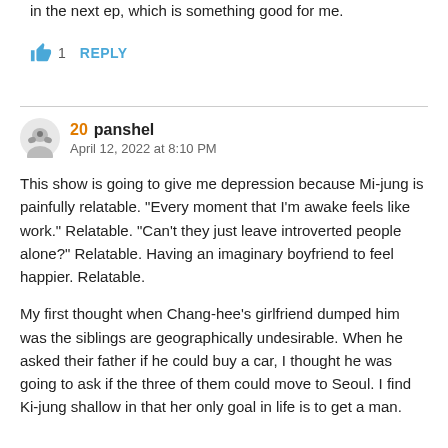in the next ep, which is something good for me.
👍 1   REPLY
20  panshel
April 12, 2022 at 8:10 PM
This show is going to give me depression because Mi-jung is painfully relatable. "Every moment that I'm awake feels like work." Relatable. "Can't they just leave introverted people alone?" Relatable. Having an imaginary boyfriend to feel happier. Relatable.
My first thought when Chang-hee's girlfriend dumped him was the siblings are geographically undesirable. When he asked their father if he could buy a car, I thought he was going to ask if the three of them could move to Seoul. I find Ki-jung shallow in that her only goal in life is to get a man.